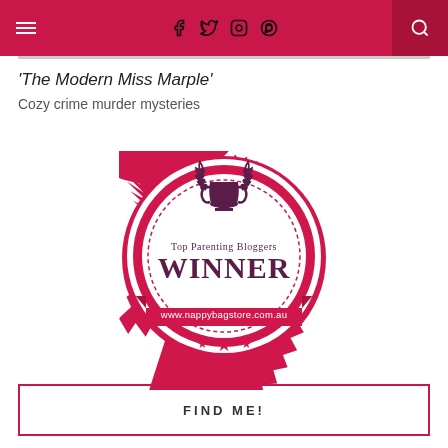Navigation bar with hamburger menu, social icons (f, Twitter, Instagram, Pinterest), and search
'The Modern Miss Marple'
Cozy crime murder mysteries
[Figure (illustration): Award badge: Top Parenting Bloggers WINNER, www.nappybagstore.com.au. Pink/crimson circular badge with serrated edge, trophy icon with laurel wreaths, dashed inner circle, banner ribbon with website URL, stars at bottom.]
FIND ME!